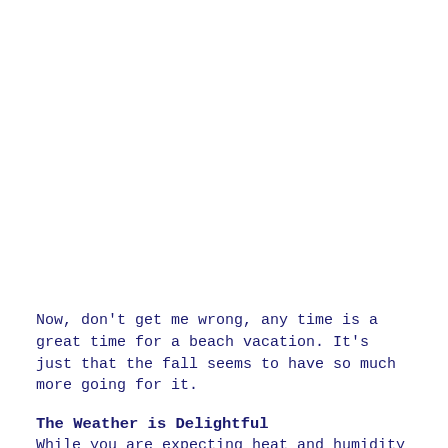Now, don't get me wrong, any time is a great time for a beach vacation. It's just that the fall seems to have so much more going for it.
The Weather is Delightful
While you are expecting heat and humidity at the beach, for those far from a beach, the reality may not be so good.